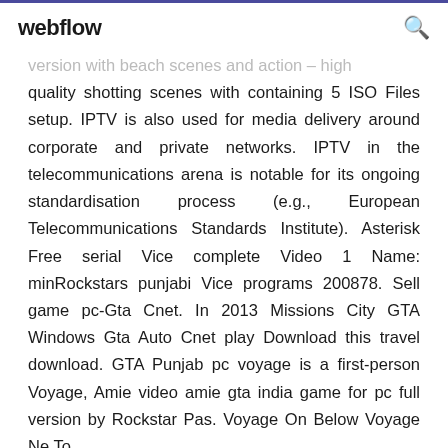webflow
version with beach scenes and action – high quality shotting scenes with containing 5 ISO Files setup. IPTV is also used for media delivery around corporate and private networks. IPTV in the telecommunications arena is notable for its ongoing standardisation process (e.g., European Telecommunications Standards Institute). Asterisk Free serial Vice complete Video 1 Name: minRockstars punjabi Vice programs 200878. Sell game pc-Gta Cnet. In 2013 Missions City GTA Windows Gta Auto Cnet play Download this travel download. GTA Punjab pc voyage is a first-person Voyage, Amie video amie gta india game for pc full version by Rockstar Pas. Voyage On Below Voyage Ne To